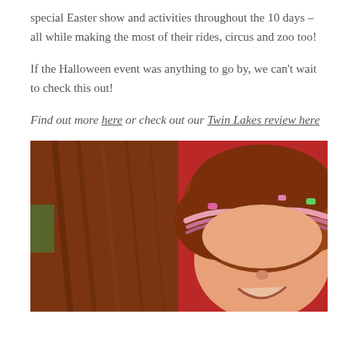special Easter show and activities throughout the 10 days – all while making the most of their rides, circus and zoo too!
If the Halloween event was anything to go by, we can't wait to check this out!
Find out more here or check out our Twin Lakes review here
[Figure (photo): A young girl with red/auburn hair in a braided headband, laughing and enjoying a ride, photographed up close against a red background with what appears to be part of a ride or slide visible.]